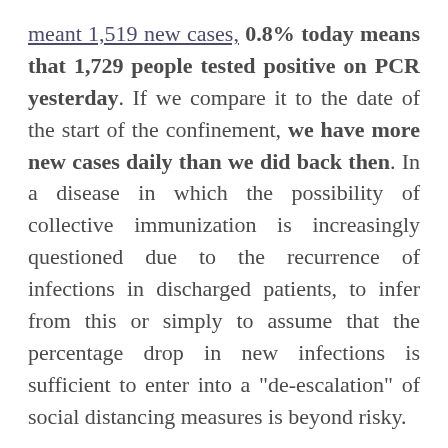meant 1,519 new cases, 0.8% today means that 1,729 people tested positive on PCR yesterday. If we compare it to the date of the start of the confinement, we have more new cases daily than we did back then. In a disease in which the possibility of collective immunization is increasingly questioned due to the recurrence of infections in discharged patients, to infer from this or simply to assume that the percentage drop in new infections is sufficient to enter into a "de-escalation" of social distancing measures is beyond risky.